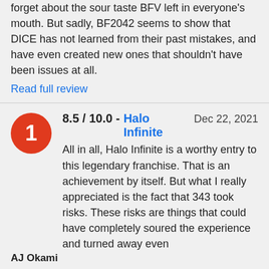...doing this will make people forget about the sour taste BFV left in everyone's mouth. But sadly, BF2042 seems to show that DICE has not learned from their past mistakes, and have even created new ones that shouldn't have been issues at all.
Read full review
8.5 / 10.0 - Halo Infinite    Dec 22, 2021
All in all, Halo Infinite is a worthy entry to this legendary franchise. That is an achievement by itself. But what I really appreciated is the fact that 343 took risks. These risks are things that could have completely soured the experience and turned away even
AJ Okami